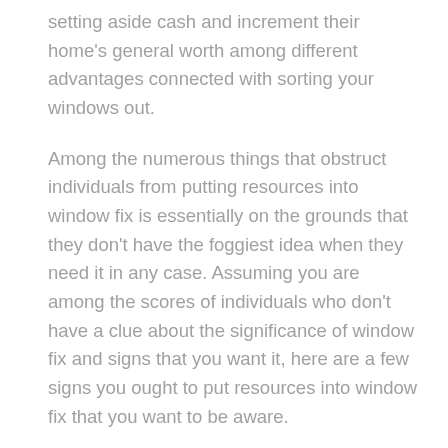setting aside cash and increment their home's general worth among different advantages connected with sorting your windows out.
Among the numerous things that obstruct individuals from putting resources into window fix is essentially on the grounds that they don't have the foggiest idea when they need it in any case. Assuming you are among the scores of individuals who don't have a clue about the significance of window fix and signs that you want it, here are a few signs you ought to put resources into window fix that you want to be aware.